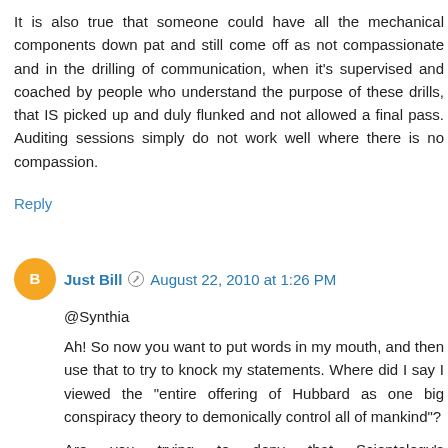It is also true that someone could have all the mechanical components down pat and still come off as not compassionate and in the drilling of communication, when it's supervised and coached by people who understand the purpose of these drills, that IS picked up and duly flunked and not allowed a final pass. Auditing sessions simply do not work well where there is no compassion.
Reply
Just Bill  August 22, 2010 at 1:26 PM
@Synthia
Ah! So now you want to put words in my mouth, and then use that to try to knock my statements. Where did I say I viewed the "entire offering of Hubbard as one big conspiracy theory to demonically control all of mankind"?
Are you trying to deny that Scientology's "Communication Course" doesn't include the TRs? It does.